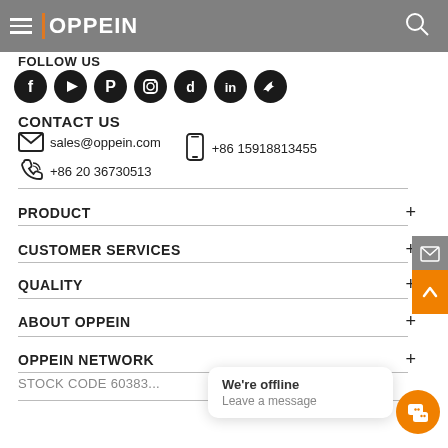OPPEIN
FOLLOW US
[Figure (illustration): Social media icons: Facebook, YouTube, Pinterest, Instagram, TikTok, LinkedIn, Twitter — all dark circular icons]
CONTACT US
sales@oppein.com   +86 15918813455   +86 20 36730513
PRODUCT +
CUSTOMER SERVICES +
QUALITY +
ABOUT OPPEIN +
OPPEIN NETWORK +
STOCK CODE 60383...
We're offline
Leave a message